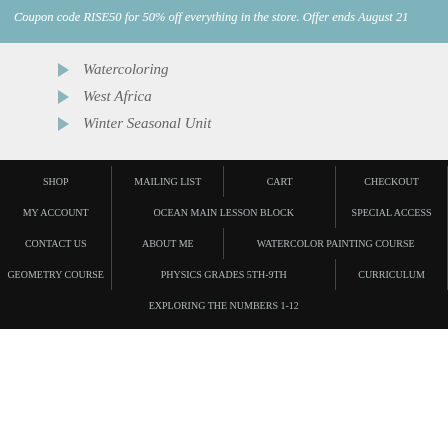Coupon code RISE50 for 50% off everything in the store. Offer ends August 21
Watercoloring
West Africa
Winter Seasonal Unit
SHOP | MAILING LIST | CART | CHECKOUT | MY ACCOUNT | OCEAN MAIN LESSON BLOCK | SPECIAL ACCESS | CONTACT US | ABOUT ME | WATERCOLOR PAINTING COURSE | GEOMETRY COURSE | PHYSICS GRADES 5TH-9TH | CURRICULUM | EXPLORING THE NUMBERS 1-12